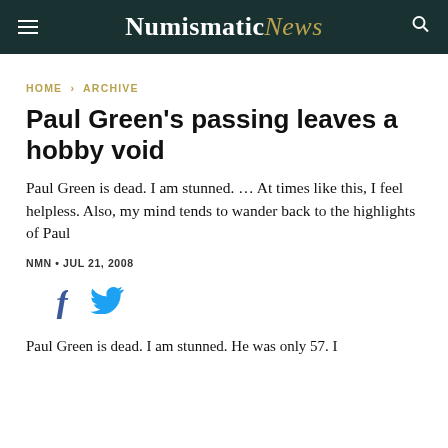NumismaticNews
HOME › ARCHIVE
Paul Green's passing leaves a hobby void
Paul Green is dead. I am stunned. … At times like this, I feel helpless. Also, my mind tends to wander back to the highlights of Paul
NMN • JUL 21, 2008
[Figure (other): Social sharing icons: Facebook and Twitter]
Paul Green is dead. I am stunned. He was only 57. I